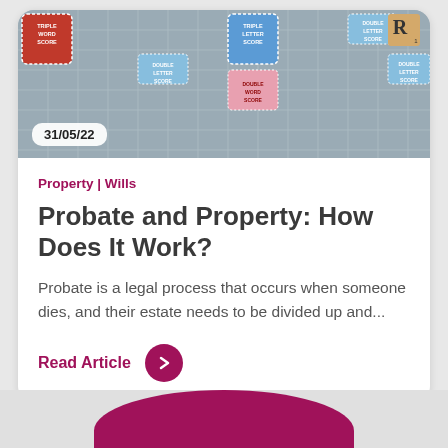[Figure (photo): Close-up photo of a Scrabble board showing colored letter score squares in red, blue, and pink with tile letters visible]
31/05/22
Property | Wills
Probate and Property: How Does It Work?
Probate is a legal process that occurs when someone dies, and their estate needs to be divided up and...
Read Article
[Figure (photo): Partial bottom image showing a pink/crimson curved shape against a light gray background]